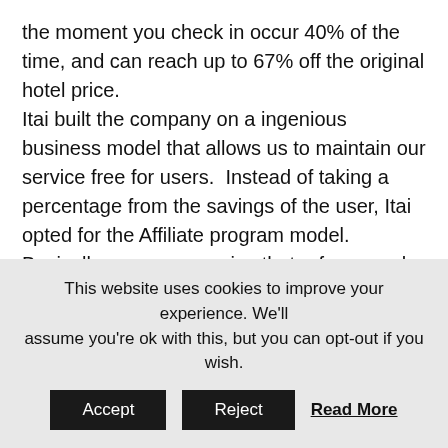the moment you check in occur 40% of the time, and can reach up to 67% off the original hotel price. Itai built the company on a ingenious business model that allows us to maintain our service free for users. Instead of taking a percentage from the savings of the user, Itai opted for the Affiliate program model. Basically, we are a service that refers people to 3rd party websites where we find the best deals. These 3rd party websites pay us a commission after the user makes a new reservation and completes their stay. So, we have every interest to fight hard for the customer and to find them the best deal available, and, the customer says “this is a no brainer” since we charge $0. Our vision is to dominate the price tracking and optimization
This website uses cookies to improve your experience. We'll assume you're ok with this, but you can opt-out if you wish.